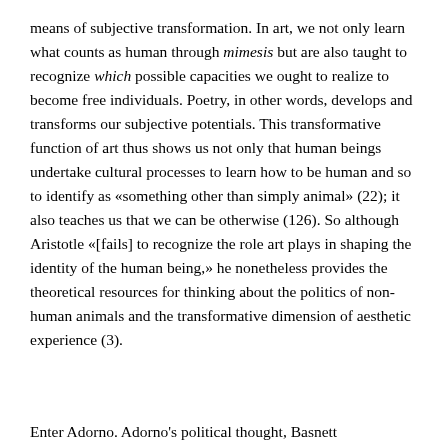means of subjective transformation. In art, we not only learn what counts as human through mimesis but are also taught to recognize which possible capacities we ought to realize to become free individuals. Poetry, in other words, develops and transforms our subjective potentials. This transformative function of art thus shows us not only that human beings undertake cultural processes to learn how to be human and so to identify as «something other than simply animal» (22); it also teaches us that we can be otherwise (126). So although Aristotle «[fails] to recognize the role art plays in shaping the identity of the human being,» he nonetheless provides the theoretical resources for thinking about the politics of non-human animals and the transformative dimension of aesthetic experience (3).
Enter Adorno. Adorno's political thought, Basnett